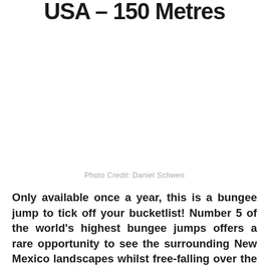USA - 150 Metres
[Figure (photo): Photo placeholder area (photo of bungee jump location, Rio Grande gorge, New Mexico). Photo Credit: Daniel Schwen]
Photo Credit: Daniel Schwen
Only available once a year, this is a bungee jump to tick off your bucketlist! Number 5 of the world's highest bungee jumps offers a rare opportunity to see the surrounding New Mexico landscapes whilst free-falling over the Rio